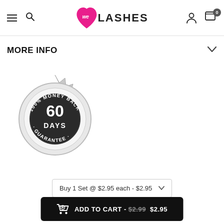We Lashes — navigation header with hamburger menu, search, logo, account, and cart (0)
MORE INFO
[Figure (illustration): Silver/gray seal badge with text: 100% MONEY BACK · 60 DAYS · GUARANTEE, with dark inner circle showing '60 DAYS']
Buy 1 Set @ $2.95 each - $2.95
ADD TO CART - $2.99 $2.95